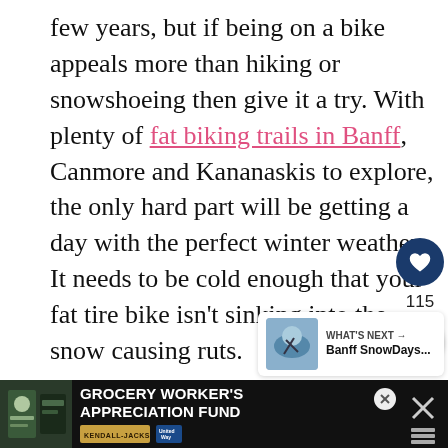few years, but if being on a bike appeals more than hiking or snowshoeing then give it a try. With plenty of fat biking trails in Banff, Canmore and Kananaskis to explore, the only hard part will be getting a day with the perfect winter weather. It needs to be cold enough that your fat tire bike isn't sinking into the snow causing ruts.
[Figure (screenshot): Heart/like button (dark blue circle with heart icon) with count 115 below, and a share button (white circle with share icon)]
[Figure (screenshot): What's Next widget showing thumbnail image of skiing and text 'Banff SnowDays...']
[Figure (screenshot): Advertisement banner: Grocery Worker's Appreciation Fund with Kendall Jackson and United Way logos, dark background with grocery worker photo]